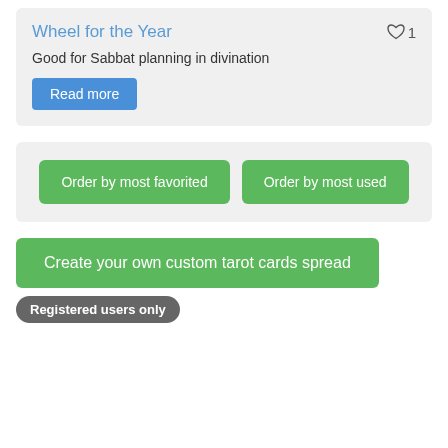Wheel for the Year
Good for Sabbat planning in divination
Read more
Order by most favorited
Order by most used
Create your own custom tarot cards spread
Registered users only